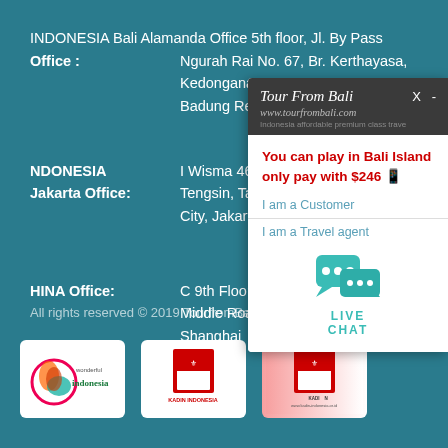INDONESIA Bali Alamanda Office 5th floor, Jl. By Pass
Office :	Ngurah Rai No. 67, Br. Kerthayasa, Kedonganan, Kuta, K... Badung Regency, Ba...
NDONESIA Jakarta Office:	I Wisma 46, Jl. Jend. ... Tengsin, Tanah Abang... City, Jakarta 10250, I...
HINA Office:	C 9th Floor, Office 96... Middle Road, Huangp... Shanghai
All rights reserved © 2019 TourfromBali.com
[Figure (logo): Wonderful Indonesia logo]
[Figure (logo): KADIN Indonesia logo]
[Figure (logo): KADIN Indonesia logo second]
[Figure (screenshot): Tour From Bali chat popup overlay with promo text 'You can play in Bali Island only pay with $246' and Live Chat button]